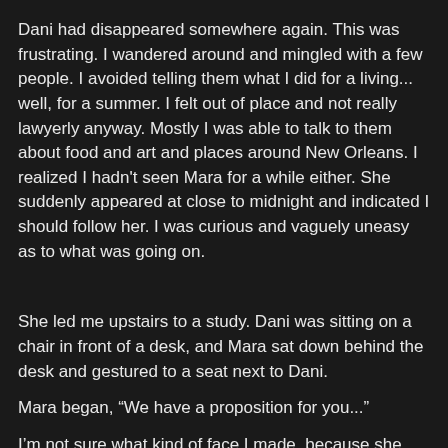Dani had disappeared somewhere again. This was frustrating. I wandered around and mingled with a few people. I avoided telling them what I did for a living... well, for a summer. I felt out of place and not really lawyerly anyway. Mostly I was able to talk to them about food and art and places around New Orleans. I realized I hadn't seen Mara for a while either. She suddenly appeared at close to midnight and indicated I should follow her. I was curious and vaguely uneasy as to what was going on.
She led me upstairs to a study. Dani was sitting on a chair in front of a desk, and Mara sat down behind the desk and gestured to a seat next to Dani.
Mara began, “We have a proposition for you...”
I’m not sure what kind of face I made, because she suddenly looked annoyed and clarified “a business proposition.” I was relieved, because as much as I'd like to hook up with Dani (or even date her), Mara kinda creeped me out.